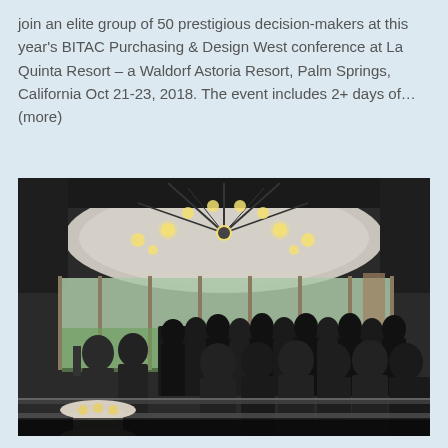join an elite group of 50 prestigious decision-makers at this year's BITAC Purchasing & Design West conference at La Quinta Resort – a Waldorf Astoria Resort, Palm Springs, California Oct 21-23, 2018. The event includes 2+ days of… (more)
[Figure (photo): Indoor event photo showing a large group of attendees standing in a modern venue with floor-to-ceiling windows overlooking a green landscape. A distinctive circular ceiling with hanging globe lights is visible overhead. Cocktail tables are visible in the foreground left.]